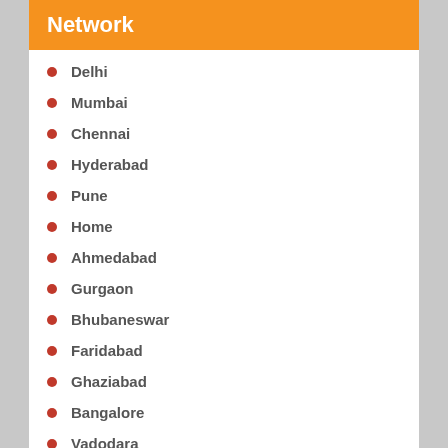Network
Delhi
Mumbai
Chennai
Hyderabad
Pune
Home
Ahmedabad
Gurgaon
Bhubaneswar
Faridabad
Ghaziabad
Bangalore
Vadodara
Thane
Chandigarh